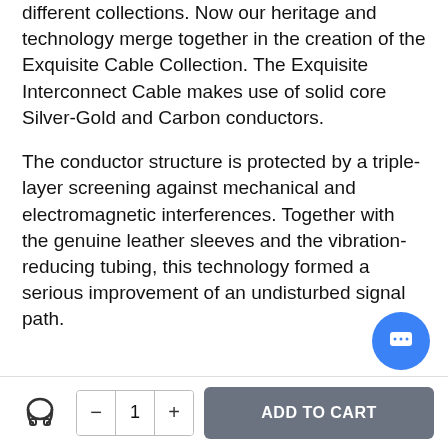different collections. Now our heritage and technology merge together in the creation of the Exquisite Cable Collection. The Exquisite Interconnect Cable makes use of solid core Silver-Gold and Carbon conductors.
The conductor structure is protected by a triple-layer screening against mechanical and electromagnetic interferences. Together with the genuine leather sleeves and the vibration-reducing tubing, this technology formed a serious improvement of an undisturbed signal path.
[Figure (illustration): Small headphone/audio cable icon in the bottom bar]